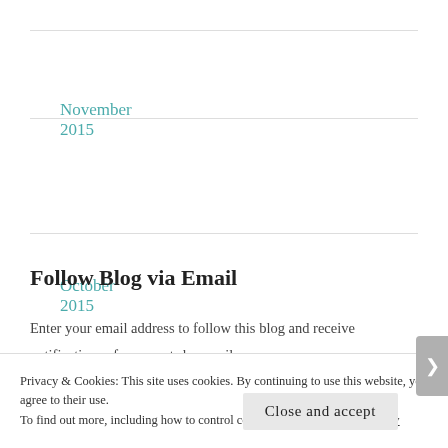November 2015
October 2015
Follow Blog via Email
Enter your email address to follow this blog and receive notifications of new posts by email.
Privacy & Cookies: This site uses cookies. By continuing to use this website, you agree to their use. To find out more, including how to control cookies, see here: Cookie Policy
Close and accept